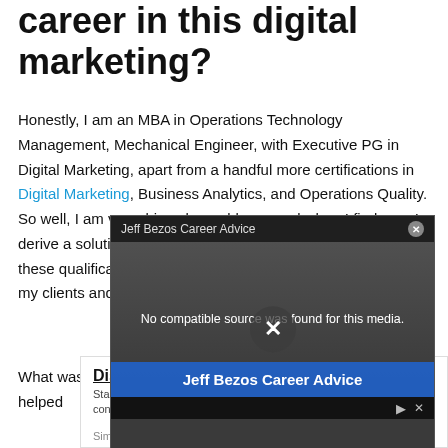career in this digital marketing?
Honestly, I am an MBA in Operations Technology Management, Mechanical Engineer, with Executive PG in Digital Marketing, apart from a handful more certifications in Digital Marketing, Business Analytics, and Operations Quality. So well, I am very driven by problems, and when I find one, I derive a solution and then keep at it to make it evolve. All of these qualifications have helped me formulate strategies for my clients and my own business.
[Figure (screenshot): Video player popup titled 'Jeff Bezos Career Advice' showing 'No compatible source was found for this media.' message with a close X button and 'Jeff Bezos Career Advice' overlay text on video frame.]
What was your first job or nuggets from jobs you had that helped
[Figure (infographic): Advertisement banner for Simon-Kucher & Partners: 'Discover our Corporate Culture - Start a career full of opportunities in an international pricing consultancy' with a Learn More button.]